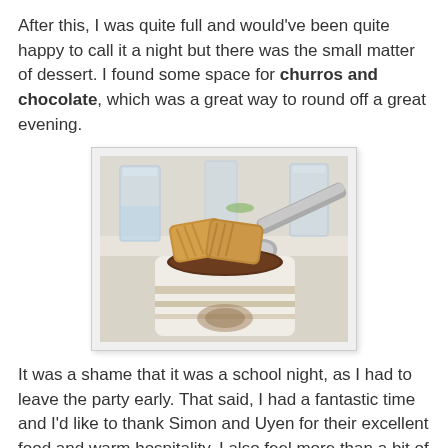After this, I was quite full and would've been quite happy to call it a night but there was the small matter of dessert. I found some space for churros and chocolate, which was a great way to round off a great evening.
[Figure (photo): A ceramic pot containing churros dipped in chocolate sauce, with glasses of water visible in the background on a white table.]
It was a shame that it was a school night, as I had to leave the party early. That said, I had a fantastic time and I'd like to thank Simon and Uyen for their excellent food and warm hospitality. I also feel more than a bit of a numpty for not having previously been to their wonderful supper club.